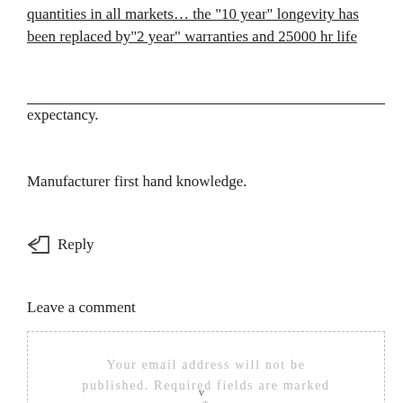quantities in all markets… the “10 year” longevity has been replaced by“2 year” warranties and 25000 hr life expectancy.
Manufacturer first hand knowledge.
↩  Reply
Leave a comment
Your email address will not be published. Required fields are marked *
v